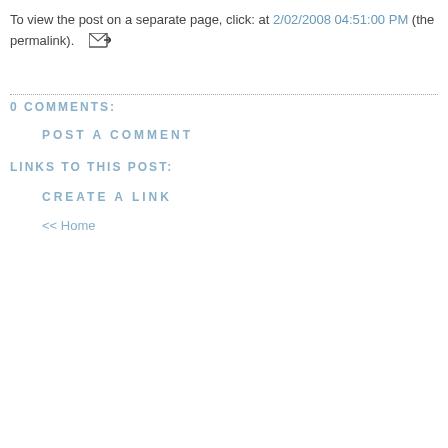To view the post on a separate page, click: at 2/02/2008 04:51:00 PM (the permalink).
0 COMMENTS:
POST A COMMENT
LINKS TO THIS POST:
CREATE A LINK
<< Home